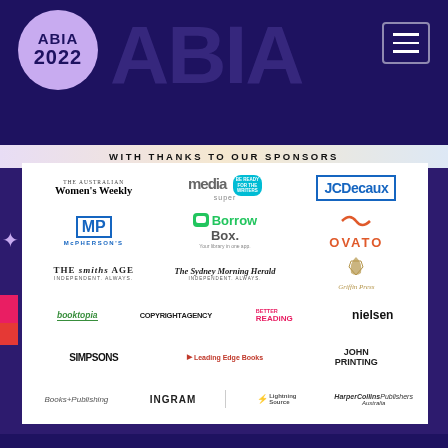[Figure (logo): ABIA 2022 logo circle in purple, with large watermark ABIA text and hamburger menu icon, dark blue banner background]
WITH THANKS TO OUR SPONSORS
[Figure (infographic): Grid of sponsor logos including: The Australian Women's Weekly, media super, JCDecaux, McPherson's, BorrowBox, OVATO, The Age, The Sydney Morning Herald, Griffin Press, booktopia, Copyright Agency, Better Reading, nielsen, Simpsons, Leading Edge Books, John Printing, Books+Publishing, INGRAM, Lightning Source, HarperCollins Publishers Australia]